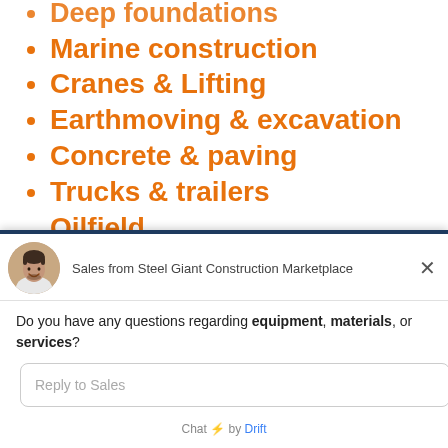Deep foundations
Marine construction
Cranes & Lifting
Earthmoving & excavation
Concrete & paving
Trucks & trailers
Oilfield
[Figure (photo): Chat widget from Steel Giant Construction Marketplace with avatar of a smiling man]
Sales from Steel Giant Construction Marketplace
Do you have any questions regarding equipment, materials, or services?
Reply to Sales
Chat ⚡ by Drift